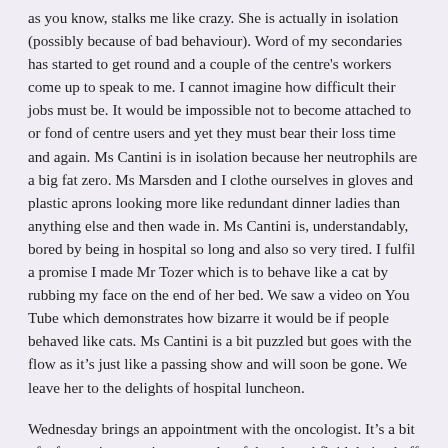as you know, stalks me like crazy. She is actually in isolation (possibly because of bad behaviour). Word of my secondaries has started to get round and a couple of the centre's workers come up to speak to me. I cannot imagine how difficult their jobs must be. It would be impossible not to become attached to or fond of centre users and yet they must bear their loss time and again. Ms Cantini is in isolation because her neutrophils are a big fat zero. Ms Marsden and I clothe ourselves in gloves and plastic aprons looking more like redundant dinner ladies than anything else and then wade in. Ms Cantini is, understandably, bored by being in hospital so long and also so very tired. I fulfil a promise I made Mr Tozer which is to behave like a cat by rubbing my face on the end of her bed. We saw a video on You Tube which demonstrates how bizarre it would be if people behaved like cats. Ms Cantini is a bit puzzled but goes with the flow as it's just like a passing show and will soon be gone. We leave her to the delights of hospital luncheon.
Wednesday brings an appointment with the oncologist. It's a bit of a frustrating meeting as results of the pleural fluid drained off are not available and at present we are playing a game called 'Hunt the Tumour'. It's a bit like Where's Wally only less fun. The oncologist is sure I have secondaries. She thinks they are in the lining of the lung but, like anyone would, she wants evidence of this. She is very apologetic about the lack of results and tells us